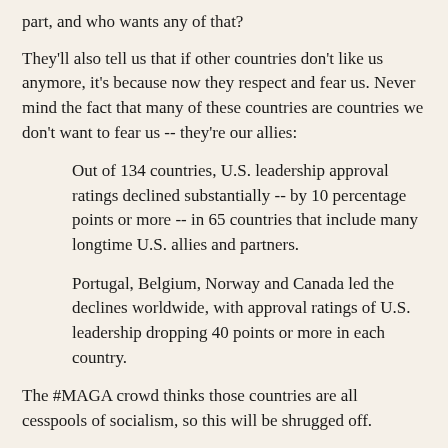part, and who wants any of that?
They'll also tell us that if other countries don't like us anymore, it's because now they respect and fear us. Never mind the fact that many of these countries are countries we don't want to fear us -- they're our allies:
Out of 134 countries, U.S. leadership approval ratings declined substantially -- by 10 percentage points or more -- in 65 countries that include many longtime U.S. allies and partners.
Portugal, Belgium, Norway and Canada led the declines worldwide, with approval ratings of U.S. leadership dropping 40 points or more in each country.
The #MAGA crowd thinks those countries are all cesspools of socialism, so this will be shrugged off.
A Pew poll last summer had similarly bad numbers, and there was no distress on the right. But I guarantee you that if the numbers were up, we'd never hear the end of it, especially from the president's Twitter feed.